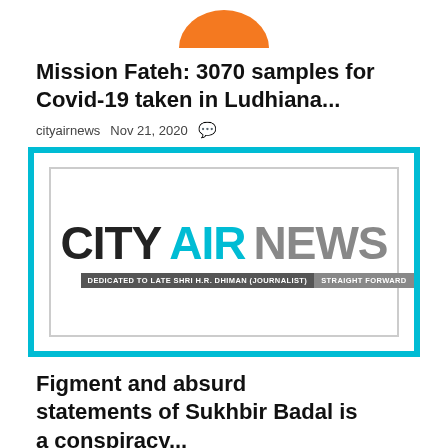[Figure (logo): Partial orange circle at top of page (cropped)]
Mission Fateh: 3070 samples for Covid-19 taken in Ludhiana...
cityairnews  Nov 21, 2020  💬
[Figure (logo): City Air News logo with tagline: DEDICATED TO LATE SHRI H.R. DHIMAN (JOURNALIST) | STRAIGHT FORWARD]
Figment and absurd statements of Sukhbir Badal is a conspiracy...